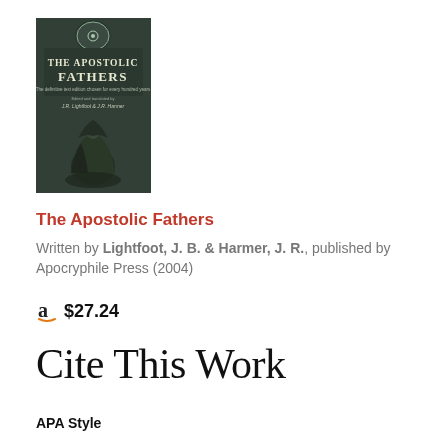[Figure (illustration): Book cover for 'The Apostolic Fathers', dark greenish-grey cover with a figure of a robed person and title text in white/light lettering. Edited and translated by J.R. Lightfoot & J.R. Harmer.]
The Apostolic Fathers
Written by Lightfoot, J. B. & Harmer, J. R., published by Apocryphile Press (2004)
a $27.24
Cite This Work
APA Style